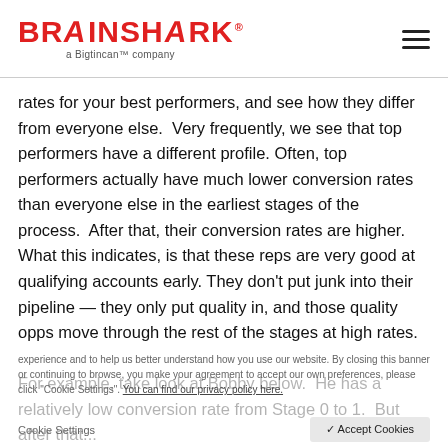BRAINSHARK a Bigtincan™ company
rates for your best performers, and see how they differ from everyone else.  Very frequently, we see that top performers have a different profile. Often, top performers actually have much lower conversion rates than everyone else in the earliest stages of the process.  After that, their conversion rates are higher. What this indicates, is that these reps are very good at qualifying accounts early. They don't put junk into their pipeline — they only put quality in, and those quality opps move through the rest of the stages at high rates.

For example, take look at Bobby below.  He has a relatively low conversion rate from Stage 0 to 1.  But after that...